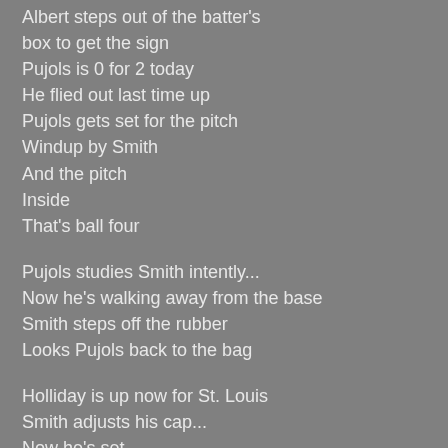Albert steps out of the batter's box to get the sign
Pujols is 0 for 2 today
He flied out last time up
Pujols gets set for the pitch
Windup by Smith
And the pitch
Inside
That's ball four
Pujols studies Smith intently...
Now he's walking away from the base
Smith steps off the rubber
Looks Pujols back to the bag
Holliday is up now for St. Louis
Smith adjusts his cap...
Now he's set
Base hit to left for Holliday
Jose Oquendo puts up the stop sign...
Pujols will stay at second